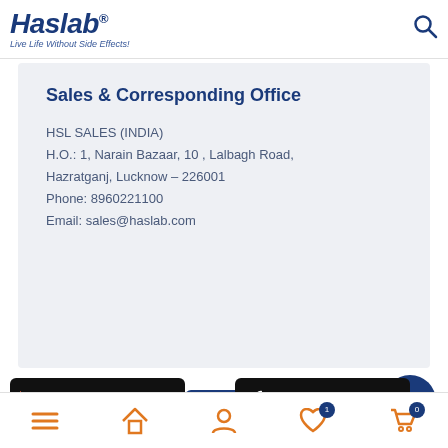Haslab® — Live Life Without Side Effects!
Sales & Corresponding Office
HSL SALES (INDIA)
H.O.: 1, Narain Bazaar, 10 , Lalbagh Road,
Hazratganj, Lucknow – 226001
Phone: 8960221100
Email: sales@haslab.com
[Figure (other): How may we help you button and + circular button]
[Figure (other): Get it on Google Play badge]
[Figure (other): Available on the App Store badge]
Bottom navigation bar with menu, home, user, wishlist (1), cart (0) icons